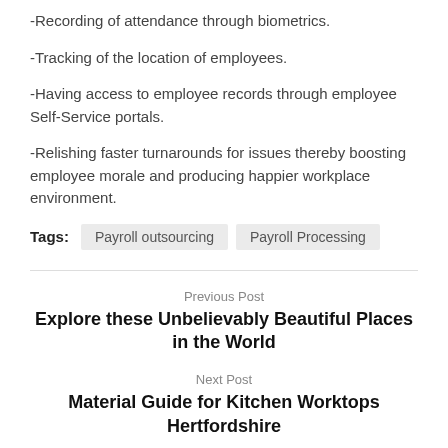-Recording of attendance through biometrics.
-Tracking of the location of employees.
-Having access to employee records through employee Self-Service portals.
-Relishing faster turnarounds for issues thereby boosting employee morale and producing happier workplace environment.
Tags: Payroll outsourcing   Payroll Processing
Previous Post
Explore these Unbelievably Beautiful Places in the World
Next Post
Material Guide for Kitchen Worktops Hertfordshire